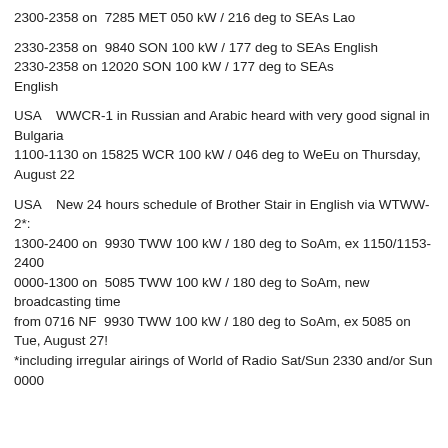2300-2358 on  7285 MET 050 kW / 216 deg to SEAs Lao
2330-2358 on  9840 SON 100 kW / 177 deg to SEAs English
2330-2358 on 12020 SON 100 kW / 177 deg to SEAs English
USA    WWCR-1 in Russian and Arabic heard with very good signal in Bulgaria
1100-1130 on 15825 WCR 100 kW / 046 deg to WeEu on Thursday, August 22
USA    New 24 hours schedule of Brother Stair in English via WTWW-2*:
1300-2400 on  9930 TWW 100 kW / 180 deg to SoAm, ex 1150/1153-2400
0000-1300 on  5085 TWW 100 kW / 180 deg to SoAm, new broadcasting time
from 0716 NF  9930 TWW 100 kW / 180 deg to SoAm, ex 5085 on Tue, August 27!
*including irregular airings of World of Radio Sat/Sun 2330 and/or Sun 0000